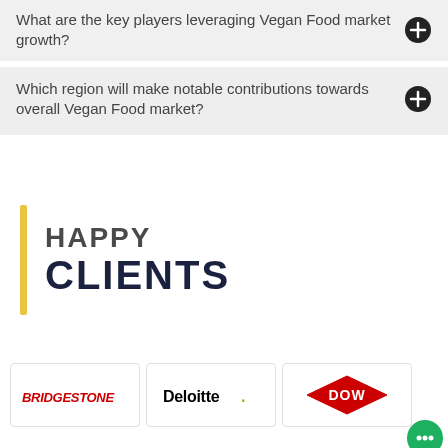What are the key players leveraging Vegan Food market growth?
Which region will make notable contributions towards overall Vegan Food market?
HAPPY CLIENTS
[Figure (logo): Bridgestone logo]
[Figure (logo): Deloitte logo]
[Figure (logo): Dow logo]